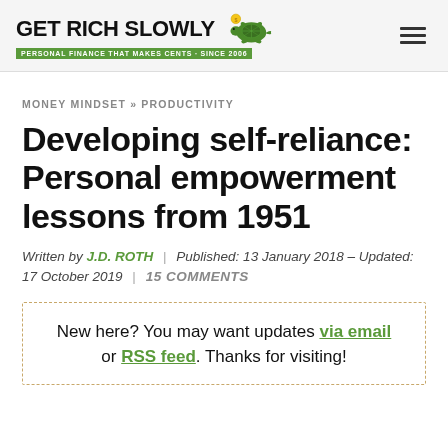GET RICH SLOWLY — PERSONAL FINANCE THAT MAKES CENTS · SINCE 2006
MONEY MINDSET » PRODUCTIVITY
Developing self-reliance: Personal empowerment lessons from 1951
Written by J.D. ROTH | Published: 13 January 2018 – Updated: 17 October 2019 | 15 COMMENTS
New here? You may want updates via email or RSS feed. Thanks for visiting!